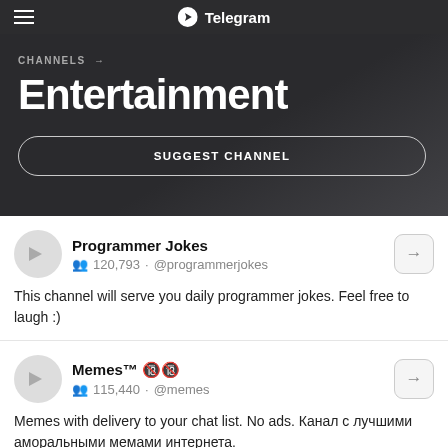Telegram
CHANNELS →
Entertainment
SUGGEST CHANNEL
Programmer Jokes
120,793 · @programmerjokes
This channel will serve you daily programmer jokes. Feel free to laugh :)
Memes™ 🔞🔞
115,440 · @memes
Memes with delivery to your chat list. No ads. Канал с лучшими аморальными мемами интернета.